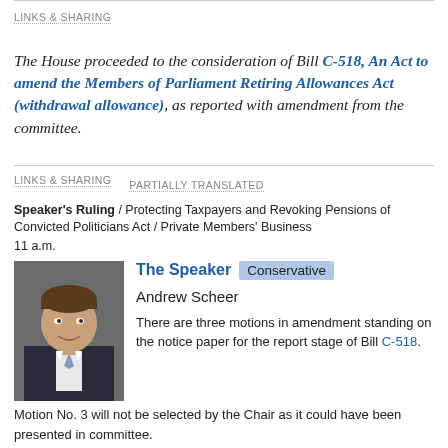LINKS & SHARING
The House proceeded to the consideration of Bill C-518, An Act to amend the Members of Parliament Retiring Allowances Act (withdrawal allowance), as reported with amendment from the committee.
LINKS & SHARING    PARTIALLY TRANSLATED
Speaker's Ruling / Protecting Taxpayers and Revoking Pensions of Convicted Politicians Act / Private Members' Business
11 a.m.
The Speaker  Conservative  Andrew Scheer
There are three motions in amendment standing on the notice paper for the report stage of Bill C-518.
Motion No. 3 will not be selected by the Chair as it could have been presented in committee.